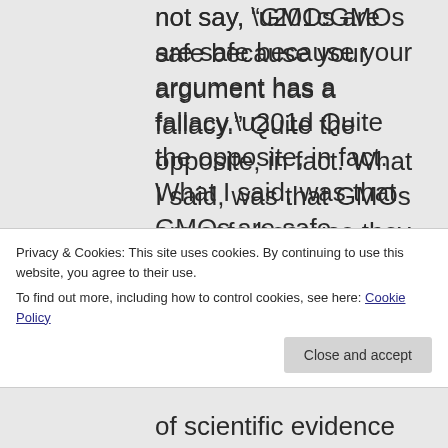not say, “GMOs are safe because your argument has a fallacy.” Quite the opposite, in fact. What I said, was that GMOs are safe because they have been scientifically tested hundreds of times and those test
Privacy & Cookies: This site uses cookies. By continuing to use this website, you agree to their use.
To find out more, including how to control cookies, see here: Cookie Policy
of scientific evidence